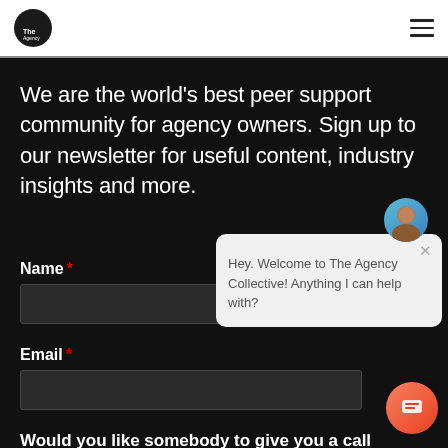The Agency Collective logo and navigation
We are the world’s best peer support community for agency owners. Sign up to our newsletter for useful content, industry insights and more.
Name *
Email *
[Figure (screenshot): Chat popup widget with avatar photo, close button, and message: Hey. Welcome to The Agency Collective! Anything I can help with?]
Would you like somebody to give you a call regarding Agency Collective membership?